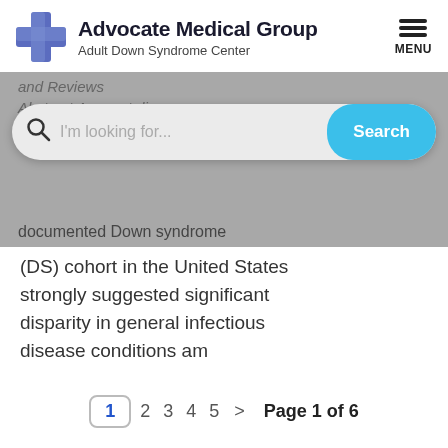[Figure (logo): Advocate Medical Group logo with blue cross symbol and text 'Advocate Medical Group / Adult Down Syndrome Center']
[Figure (screenshot): Search bar overlay with text 'I'm looking for...' and a blue Search button, over gray background area showing partial text 'and Reviews' and 'Abstract A recent disease' above and 'documented Down syndrome (DS) cohort in the United States strongly suggested significant disparity in general infectious disease conditions am' below]
documented Down syndrome (DS) cohort in the United States strongly suggested significant disparity in general infectious disease conditions am
Page 1 of 6